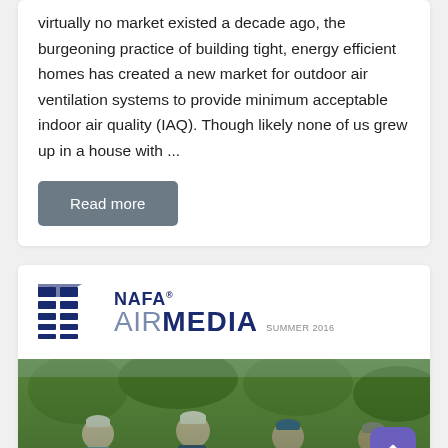virtually no market existed a decade ago, the burgeoning practice of building tight, energy efficient homes has created a new market for outdoor air ventilation systems to provide minimum acceptable indoor air quality (IAQ). Though likely none of us grew up in a house with ...
Read more
[Figure (logo): NAFA Air Media Summer 2016 logo with stylized blue filter icon]
[Figure (photo): Four men in golf attire posing together outdoors with trees in background]